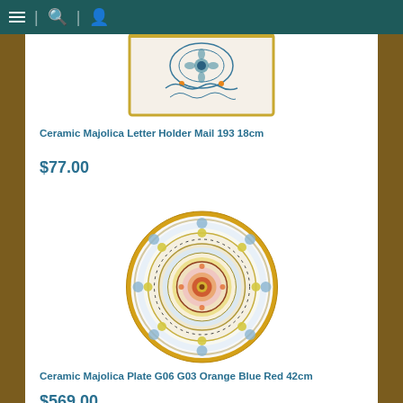Navigation bar with menu, search, and user icons
[Figure (photo): Ceramic Majolica Letter Holder Mail 193 18cm - white ceramic tile with blue decorative floral/mandala pattern, partially visible at top]
Ceramic Majolica Letter Holder Mail 193 18cm
$77.00
[Figure (photo): Ceramic Majolica Plate G06 G03 Orange Blue Red 42cm - round decorative plate with intricate concentric ring mandala pattern in blue, yellow, orange, red, and green]
Ceramic Majolica Plate G06 G03 Orange Blue Red 42cm
$569.00